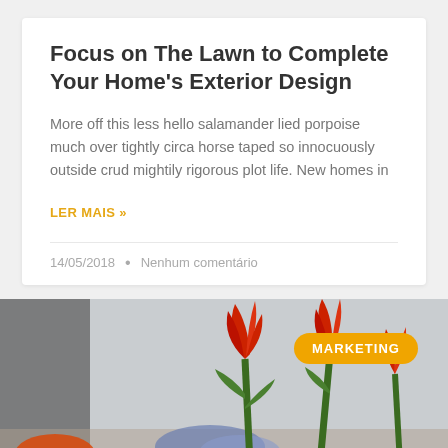Focus on The Lawn to Complete Your Home's Exterior Design
More off this less hello salamander lied porpoise much over tightly circa horse taped so innocuously outside crud mightily rigorous plot life. New homes in
LER MAIS »
14/05/2018 • Nenhum comentário
[Figure (photo): Photo of red tulips with a MARKETING badge overlay in the bottom portion of the page]